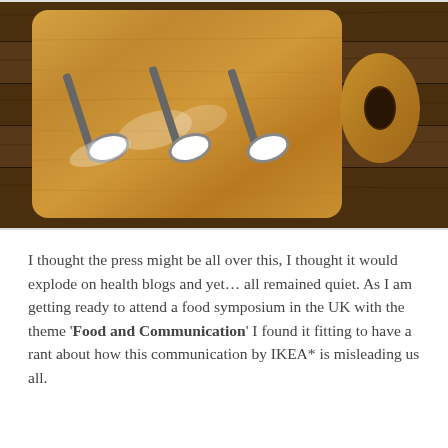[Figure (photo): Overhead photo of three metal spoons filled with white sugar/salt, arranged diagonally on a wooden cutting board, placed on a wooden plank surface. The board is light oak colored with a round handle cutout on the right side.]
I thought the press might be all over this, I thought it would explode on health blogs and yet… all remained quiet. As I am getting ready to attend a food symposium in the UK with the theme 'Food and Communication' I found it fitting to have a rant about how this communication by IKEA* is misleading us all.